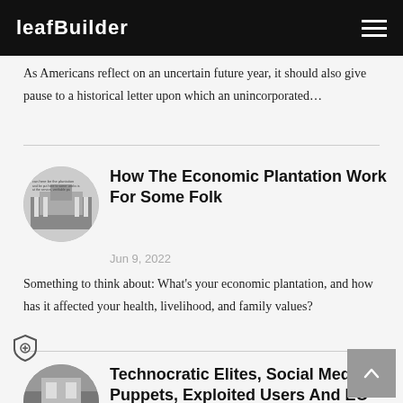leafBuilder
As Americans reflect on an uncertain future year, it should also give pause to a historical letter upon which an unincorporated...
How The Economic Plantation Work For Some Folk
Jun 9, 2022
Something to think about: What's your economic plantation, and how has it affected your health, livelihood, and family values?
Technocratic Elites, Social Media Puppets, Exploited Users And EO